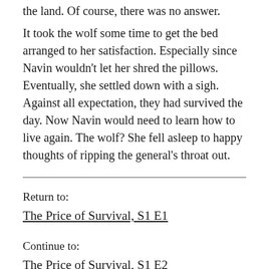the land. Of course, there was no answer.
It took the wolf some time to get the bed arranged to her satisfaction. Especially since Navin wouldn't let her shred the pillows. Eventually, she settled down with a sigh. Against all expectation, they had survived the day. Now Navin would need to learn how to live again. The wolf? She fell asleep to happy thoughts of ripping the general's throat out.
Return to:
The Price of Survival, S1 E1
Continue to:
The Price of Survival, S1 E2